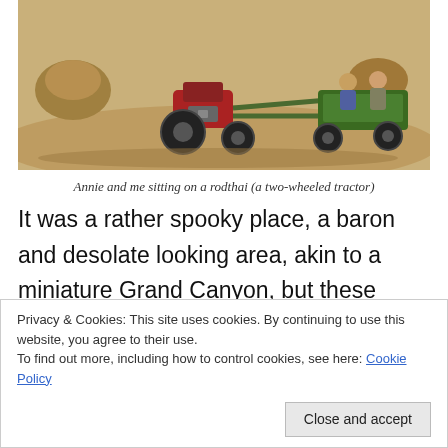[Figure (photo): A two-wheeled tractor (rodthai) on sandy/dusty terrain with people sitting on it, haystacks visible in background]
Annie and me sitting on a rodthai (a two-wheeled tractor)
It was a rather spooky place, a baron and desolate looking area, akin to a miniature Grand Canyon, but these structures had been created recently and were actually made of soft sediment, the remnants of a recently cleared forest for the purpose of agriculture,
and sizes.
Privacy & Cookies: This site uses cookies. By continuing to use this website, you agree to their use.
To find out more, including how to control cookies, see here: Cookie Policy
Close and accept